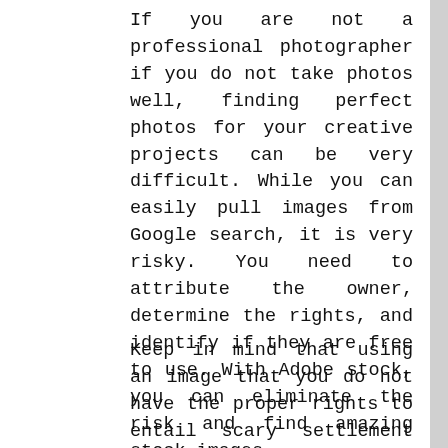If you are not a professional photographer if you do not take photos well, finding perfect photos for your creative projects can be very difficult. While you can easily pull images from Google search, it is very risky. You need to attribute the owner, determine the rights, and identify if they are free to use. With Adobe stock, you can eliminate the risk and find amazing stock images.
Keep in mind that using an image that you do not have the proper rights to entail scary settlement letters and heft fees. There is also the ethics of taking a photographer's could be livelihood. In order to avoid the headaches and hassle of using images from Google, subscribe to